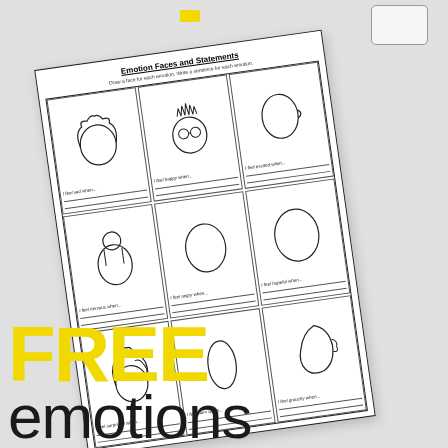[Figure (illustration): A tilted worksheet titled 'Emotion Faces and Statements' showing a 3x3 grid of blank face outlines (various hairstyles/head shapes) with fill-in prompts: 'I feel sad when...', 'I feel happy when...', 'I feel excited when...', 'I feel nervous when...', 'I feel angry when...', 'I feel hopeful when...', 'I feel surprised when...', 'I feel calm when...', 'I feel grouchy when...'. The worksheet is placed on a light gray/white surface with a yellow pencil and a phone visible at the top.]
FREE
emotions